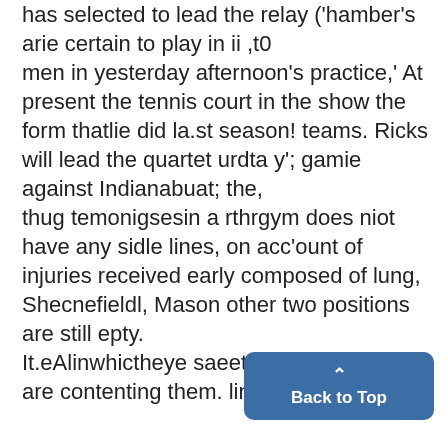has selected to lead the relay ('hamber's arie certain to play in ii ,t0 men in yesterday afternoon's practice,' At present the tennis court in the show the form thatlie did la.st season! teams. Ricks will lead the quartet urdta y'; gamie against Indianabuat; the, thug temonigsesin a rthrgym does niot have any sidle lines, on acc'ount of injuries received early composed of lung, Shecnefieldl, Mason other two positions are still epty. It.eAlinwhictheye saeetheirdi to are contenting them. lin the season land!